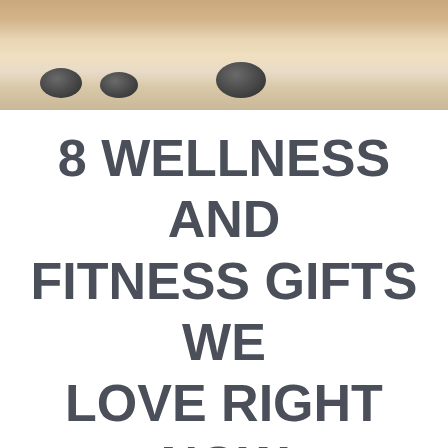[Figure (photo): Decorative wellness photo showing smooth stones on a light wooden surface with warm background tones.]
8 WELLNESS AND FITNESS GIFTS WE LOVE RIGHT NOW
Yoga Digest
[Figure (infographic): Row of social share buttons: Facebook (blue), Twitter (light blue), Google+ (red), LinkedIn (teal), Email (grey).]
Living well, practicing self-care for your mind, body